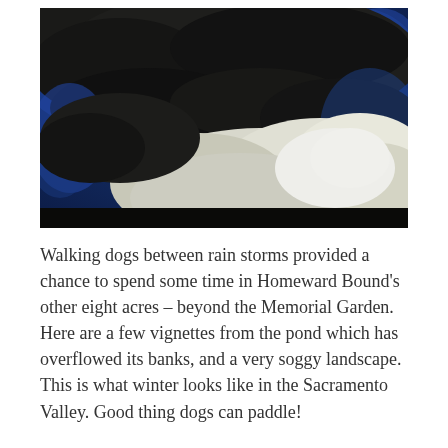[Figure (photo): Dramatic stormy sky photograph showing dark storm clouds overhead with bright white billowing cumulus clouds below against a deep blue sky background.]
Walking dogs between rain storms provided a chance to spend some time in Homeward Bound's other eight acres – beyond the Memorial Garden. Here are a few vignettes from the pond which has overflowed its banks, and a very soggy landscape. This is what winter looks like in the Sacramento Valley. Good thing dogs can paddle!